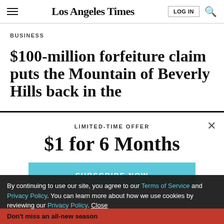Los Angeles Times
BUSINESS
$100-million forfeiture claim puts the Mountain of Beverly Hills back in the
LIMITED-TIME OFFER
$1 for 6 Months
SUBSCRIBE NOW
By continuing to use our site, you agree to our Terms of Service and Privacy Policy. You can learn more about how we use cookies by reviewing our Privacy Policy. Close
Don't miss an all-new season